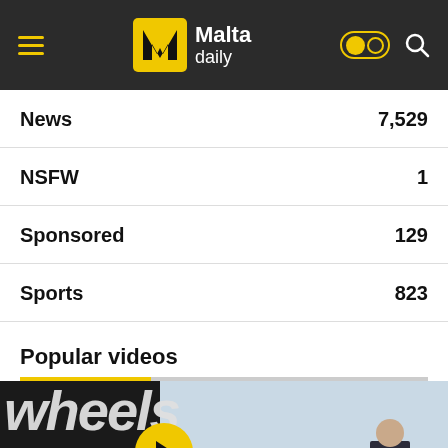Malta daily
News 7,529
NSFW 1
Sponsored 129
Sports 823
Popular videos
[Figure (screenshot): Video thumbnail showing 'wheels' text overlay with Malta Daily branding and a play button, showing a man in a suit outdoors]